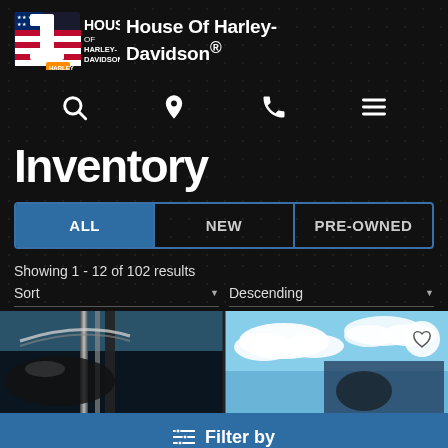[Figure (logo): House of Harley-Davidson logo with number 1 and American flag motif]
House Of Harley-Davidson®
[Figure (infographic): Navigation icons: search, location pin, phone, hamburger menu]
Inventory
ALL | NEW | PRE-OWNED (tab buttons)
Showing 1 - 12 of 102 results
Sort ▼    Descending ▼
[Figure (photo): Two motorcycle preview images side by side — left showing chrome/dark bike parts, right showing sky with clouds]
Filter by